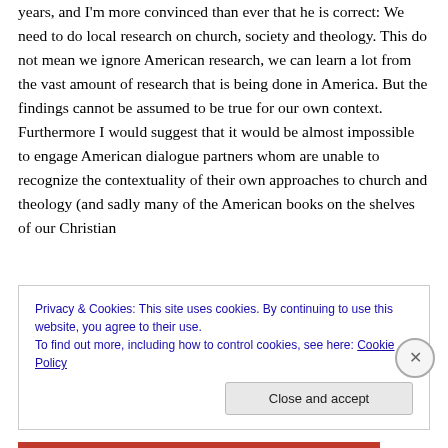years, and I'm more convinced than ever that he is correct: We need to do local research on church, society and theology. This do not mean we ignore American research, we can learn a lot from the vast amount of research that is being done in America. But the findings cannot be assumed to be true for our own context. Furthermore I would suggest that it would be almost impossible to engage American dialogue partners whom are unable to recognize the contextuality of their own approaches to church and theology (and sadly many of the American books on the shelves of our Christian
Privacy & Cookies: This site uses cookies. By continuing to use this website, you agree to their use.
To find out more, including how to control cookies, see here: Cookie Policy